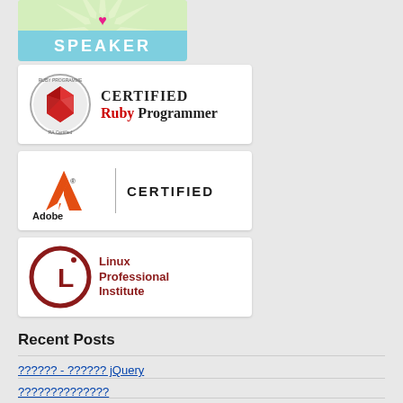[Figure (logo): Speaker badge - teal banner with SPEAKER text, light green starburst background with pink heart motif]
[Figure (logo): Certified Ruby Programmer badge - silver circular seal with ruby gem icon on left, text reads CERTIFIED RUBY PROGRAMMER]
[Figure (logo): Adobe Certified badge - Adobe logo (orange A) with vertical divider and CERTIFIED text]
[Figure (logo): Linux Professional Institute logo - circular LPI badge on left with Linux Professional Institute text in dark red]
Recent Posts
?????? - ?????? jQuery
??????????????
??????????????